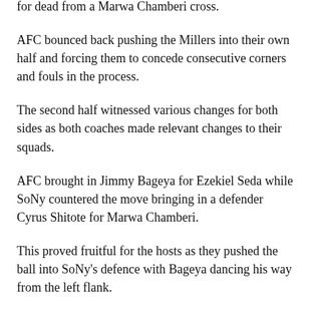for dead from a Marwa Chamberi cross.
AFC bounced back pushing the Millers into their own half and forcing them to concede consecutive corners and fouls in the process.
The second half witnessed various changes for both sides as both coaches made relevant changes to their squads.
AFC brought in Jimmy Bageya for Ezekiel Seda while SoNy countered the move bringing in a defender Cyrus Shitote for Marwa Chamberi.
This proved fruitful for the hosts as they pushed the ball into SoNy's defence with Bageya dancing his way from the left flank.
Ingwe maintained their attacks with Allan Wanga leveling the scores in the 56th minute through a header after a superb cross from Misses Mwangi.
SoNy however bounced back but Agwanda wasted another